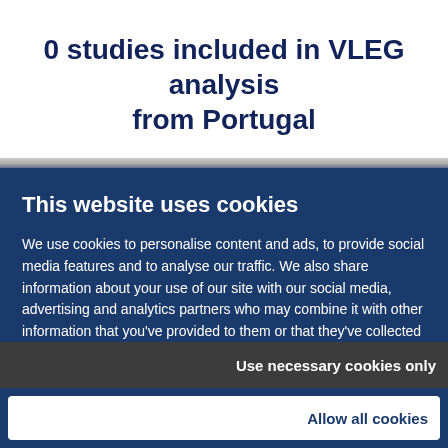0 studies included in VLEG analysis from Portugal
This website uses cookies
We use cookies to personalise content and ads, to provide social media features and to analyse our traffic. We also share information about your use of our site with our social media, advertising and analytics partners who may combine it with other information that you've provided to them or that they've collected from your use of their services.
Use necessary cookies only
Allow all cookies